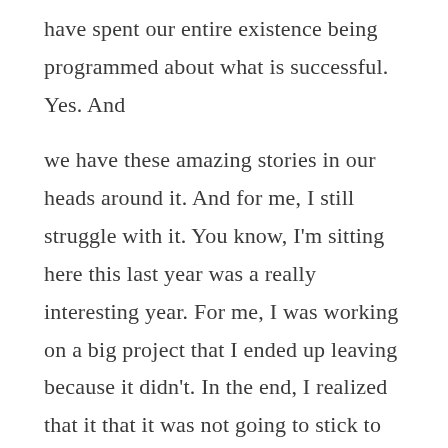have spent our entire existence being programmed about what is successful. Yes. And we have these amazing stories in our heads around it. And for me, I still struggle with it. You know, I'm sitting here this last year was a really interesting year. For me, I was working on a big project that I ended up leaving because it didn't. In the end, I realized that it that it was not going to stick to the mission that I had signed up for. And, and I made it myself a promise that no matter what, I was always going to go back to my personal mission. Like that's how I operate in my life